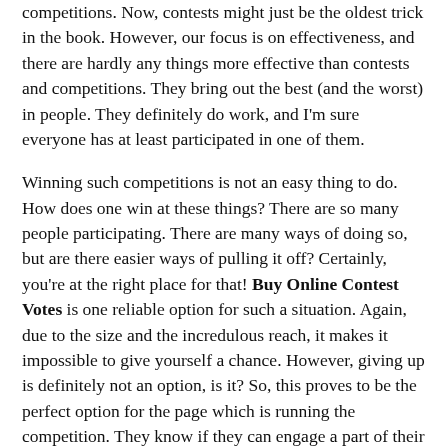competitions. Now, contests might just be the oldest trick in the book. However, our focus is on effectiveness, and there are hardly any things more effective than contests and competitions. They bring out the best (and the worst) in people. They definitely do work, and I'm sure everyone has at least participated in one of them.
Winning such competitions is not an easy thing to do. How does one win at these things? There are so many people participating. There are many ways of doing so, but are there easier ways of pulling it off? Certainly, you're at the right place for that! Buy Online Contest Votes is one reliable option for such a situation. Again, due to the size and the incredulous reach, it makes it impossible to give yourself a chance. However, giving up is definitely not an option, is it? So, this proves to be the perfect option for the page which is running the competition. They know if they can engage a part of their following, more and more people will follow. Their purpose is definitely being fulfilled. But, we will look at the consumer side of things. You can buy Facebook contest votes and save the hassle of actually begging your friends to vote for you. That is definitely an easier alternative by buying votes for contest and not wasting time in actually